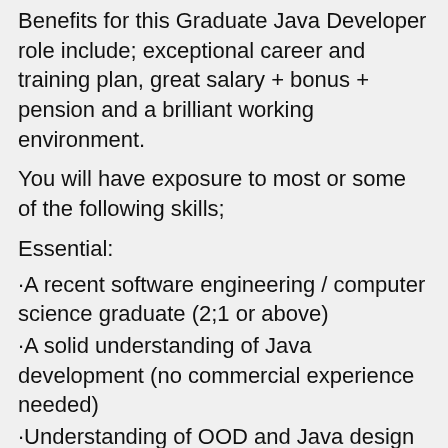Benefits for this Graduate Java Developer role include; exceptional career and training plan, great salary + bonus + pension and a brilliant working environment.
You will have exposure to most or some of the following skills;
Essential:
·A recent software engineering / computer science graduate (2;1 or above)
·A solid understanding of Java development (no commercial experience needed)
·Understanding of OOD and Java design patterns.
·Experience in all phases of the software development life-cycle.
·Experience in presentations and technical writing
·Java: JDK 1.6 and above
·Understanding of Web Service standards (SOAP, XML,